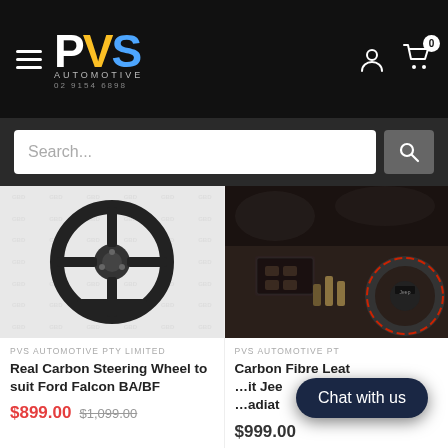PVS Automotive — 02 9154 6898
[Figure (photo): Black real carbon steering wheel for Ford Falcon BA/BF with watermark background]
PVS AUTOMOTIVE PTY LIMITED
Real Carbon Steering Wheel to suit Ford Falcon BA/BF
$899.00  $1,099.00
[Figure (photo): Interior photo showing carbon fibre leather steering wheel in a Jeep Gladiator with red stitching]
PVS AUTOMOTIVE PT...
Carbon Fibre Leat... suit Jee... adiato...
$999.00
Chat with us